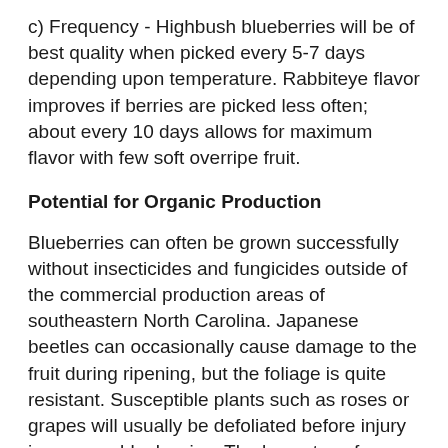c) Frequency - Highbush blueberries will be of best quality when picked every 5-7 days depending upon temperature. Rabbiteye flavor improves if berries are picked less often; about every 10 days allows for maximum flavor with few soft overripe fruit.
Potential for Organic Production
Blueberries can often be grown successfully without insecticides and fungicides outside of the commercial production areas of southeastern North Carolina. Japanese beetles can occasionally cause damage to the fruit during ripening, but the foliage is quite resistant. Susceptible plants such as roses or grapes will usually be defoliated before injury is seen on blueberries. The low rates of fertilizer required make organic sources a viable alternative. Horse manure has proven to be a suitable source of nitrogen and rock phosphate provides adequate phosphate. Weeds can be controlled with shallow cultivation or more desirably with mulch.